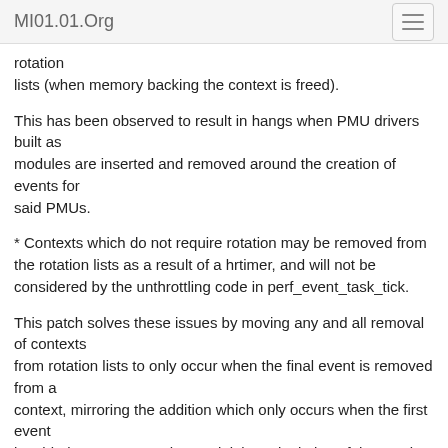MI01.01.Org
rotation
lists (when memory backing the context is freed).
This has been observed to result in hangs when PMU drivers built as
modules are inserted and removed around the creation of events for
said PMUs.
* Contexts which do not require rotation may be removed from the rotation lists as a result of a hrtimer, and will not be considered by the unthrottling code in perf_event_task_tick.
This patch solves these issues by moving any and all removal of contexts
from rotation lists to only occur when the final event is removed from a
context, mirroring the addition which only occurs when the first event
is added to a context. The vestigial manipulation of the rotation lists